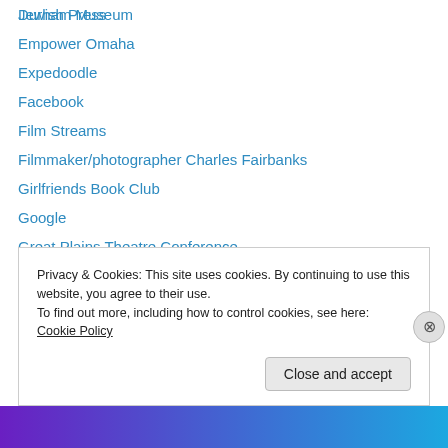Durham Museum
Empower Omaha
Expedoodle
Facebook
Film Streams
Filmmaker/photographer Charles Fairbanks
Girlfriends Book Club
Google
Great Plains Theatre Conference
Heart Ministry Center
How to Party with an Infant
I Love Black History
Institute for Holocaust Education
Jewish Press
Privacy & Cookies: This site uses cookies. By continuing to use this website, you agree to their use.
To find out more, including how to control cookies, see here: Cookie Policy
Close and accept